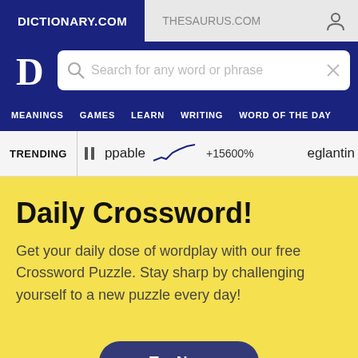DICTIONARY.COM | THESAURUS.COM
[Figure (screenshot): Dictionary.com logo — white letter D on dark blue background]
Search for any word or phrase
MEANINGS  GAMES  LEARN  WRITING  WORD OF THE DAY
TRENDING  ppable  +15600%  eglantin
Daily Crossword!
Get your daily dose of wordplay with our free Crossword Puzzle. Stay sharp by challenging yourself to a new puzzle every day!
Try Now